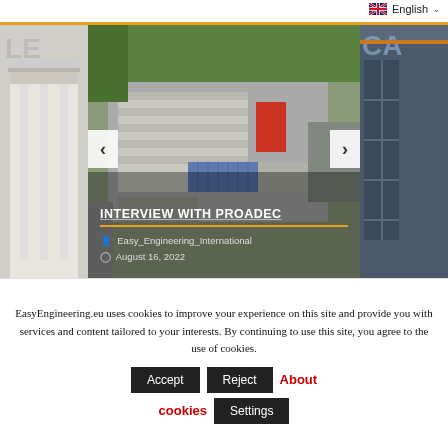English
[Figure (photo): Aerial view of industrial facility with warehouses and solar panels — Interview with Proadec article card. Date: August 16, 2022. Author: Easy_Engineering_International.]
INTERVIEW WITH PROADEC
Easy_Engineering_International
August 16, 2022
EasyEngineering.eu uses cookies to improve your experience on this site and provide you with services and content tailored to your interests. By continuing to use this site, you agree to the use of cookies.
Accept  Reject  About cookies  Settings